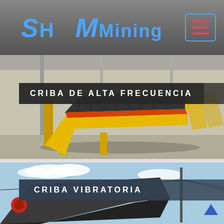SH MMining
[Figure (photo): Industrial high-frequency screen (Criba de Alta Frecuencia) — yellow metal frame with black corrugated screening panels, angled at about 45 degrees, in an industrial warehouse/factory setting]
CRIBA DE ALTA FRECUENCIA
[Figure (photo): Vibrating screen (Criba Vibratoria) — industrial machine with dark metal frame and screening panels, outdoors against a blue sky with utility poles visible]
CRIBA VIBRATORIA